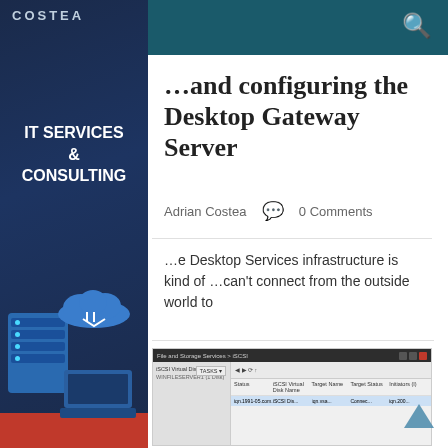COSTEA
...and configuring the Desktop Gateway Server
Adrian Costea  0 Comments
...e Desktop Services infrastructure is kind of ...can't connect from the outside world to
[Figure (screenshot): Windows Server Manager screenshot showing File and Storage Services > iSCSI panel with a table row of iSCSI virtual disk details]
IT SERVICES & CONSULTING